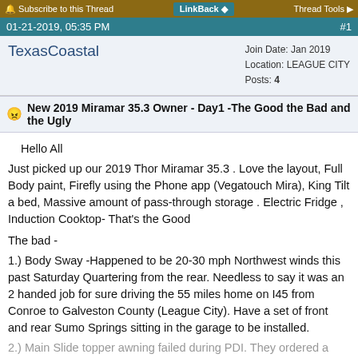Subscribe to this Thread | LinkBack | Thread Tools
01-21-2019, 05:35 PM  #1
TexasCoastal
Join Date: Jan 2019
Location: LEAGUE CITY
Posts: 4
New 2019 Miramar 35.3 Owner - Day1 -The Good the Bad and the Ugly
Hello All
Just picked up our 2019 Thor Miramar 35.3 . Love the layout, Full Body paint, Firefly using the Phone app (Vegatouch Mira), King Tilt a bed, Massive amount of pass-through storage . Electric Fridge , Induction Cooktop- That's the Good

The bad -
1.) Body Sway -Happened to be 20-30 mph Northwest winds this past Saturday Quartering from the rear. Needless to say it was an 2 handed job for sure driving the 55 miles home on I45 from Conroe to Galveston County (League City). Have a set of front and rear Sumo Springs sitting in the garage to be installed.
2.) Main Slide topper awning failed during PDI. They ordered a new one.
3.) It was in the 30's and the tech had to lube the new slide seal due to